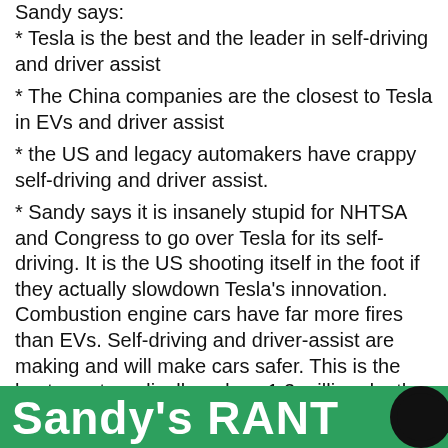Sandy says:
* Tesla is the best and the leader in self-driving and driver assist
* The China companies are the closest to Tesla in EVs and driver assist
* the US and legacy automakers have crappy self-driving and driver assist.
* Sandy says it is insanely stupid for NHTSA and Congress to go over Tesla for its self-driving. It is the US shooting itself in the foot if they actually slowdown Tesla’s innovation. Combustion engine cars have far more fires than EVs. Self-driving and driver-assist are making and will make cars safer. This is the best way to radically reduce 1.3 million deaths per year from cars.
[Figure (illustration): Sandy's RANT banner in green with white bold text and a black circle/logo on the right]